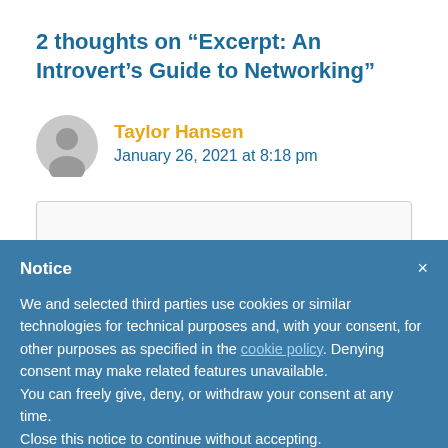2 thoughts on “Excerpt: An Introvert’s Guide to Networking”
Taylor Hansen
January 26, 2021 at 8:18 pm
Notice
We and selected third parties use cookies or similar technologies for technical purposes and, with your consent, for other purposes as specified in the cookie policy. Denying consent may make related features unavailable.
You can freely give, deny, or withdraw your consent at any time.
Close this notice to continue without accepting.